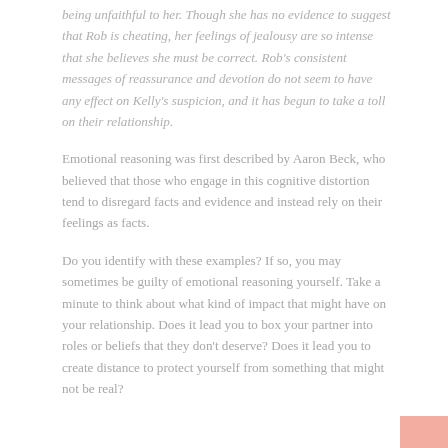being unfaithful to her. Though she has no evidence to suggest that Rob is cheating, her feelings of jealousy are so intense that she believes she must be correct. Rob's consistent messages of reassurance and devotion do not seem to have any effect on Kelly's suspicion, and it has begun to take a toll on their relationship.
Emotional reasoning was first described by Aaron Beck, who believed that those who engage in this cognitive distortion tend to disregard facts and evidence and instead rely on their feelings as facts.
Do you identify with these examples? If so, you may sometimes be guilty of emotional reasoning yourself. Take a minute to think about what kind of impact that might have on your relationship. Does it lead you to box your partner into roles or beliefs that they don't deserve? Does it lead you to create distance to protect yourself from something that might not be real?